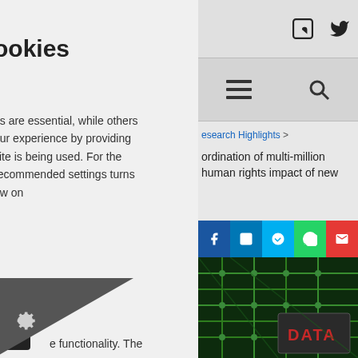ookies
es are essential, while others our experience by providing site is being used. For the recommended settings turns ow on
n visit our
[Figure (screenshot): External link icon button (dark square with arrow icon)]
nded Settings
e functionality. The
[Figure (screenshot): Right panel showing website navigation with LinkedIn and Twitter social icons, hamburger menu, search icon, breadcrumb navigation showing 'esearch Highlights >', partial article title 'ordination of multi-million human rights impact of new', share icons (LinkedIn, Skype, WhatsApp, Email), and a circuit board image with DATA text]